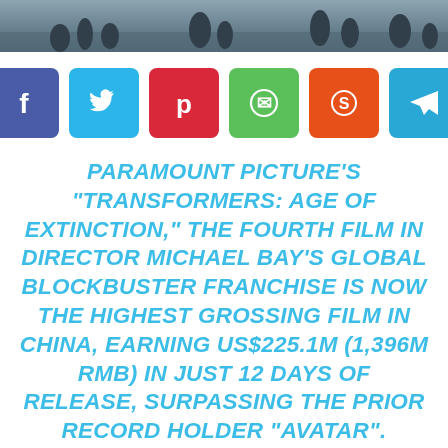[Figure (photo): Photo strip at top showing blurred background of people outdoors]
[Figure (infographic): Row of six social media share buttons: Facebook (purple-blue), Twitter (light blue), Pinterest (red), WhatsApp (green), Reddit (orange-red), Telegram (blue)]
PARAMOUNT PICTURE’S “TRANSFORMERS: AGE OF EXTINCTION,” THE FOURTH FILM IN DIRECTOR MICHAEL BAY’S GLOBAL BLOCKBUSTER FRANCHISE IS NOW THE HIGHEST GROSSING FILM IN CHINA, EARNING US$225.1M (1,396M RMB) IN JUST 12 DAYS OF RELEASE, SURPASSING THE PRIOR RECORD HOLDER “AVATAR”.